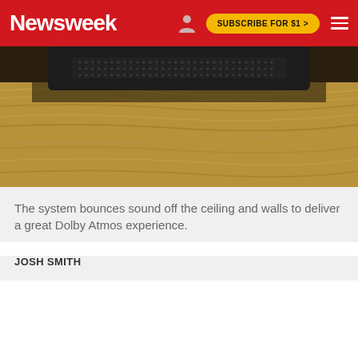Newsweek | SUBSCRIBE FOR $1 >
[Figure (photo): Close-up photo of a black speaker/soundbar device sitting on a wooden surface, viewed from above. The device has a perforated grille. The wood grain of the surface is visible below the device.]
The system bounces sound off the ceiling and walls to deliver a great Dolby Atmos experience.
JOSH SMITH